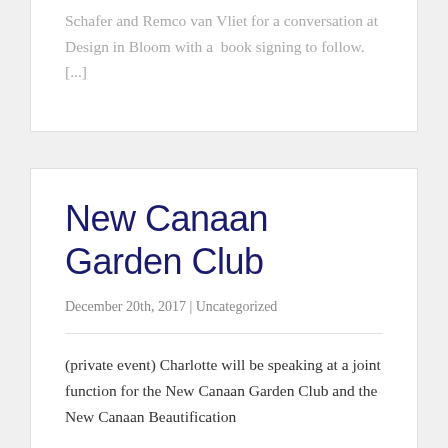Schafer and Remco van Vliet for a conversation at Design in Bloom with a  book signing to follow. [...]
New Canaan Garden Club
December 20th, 2017 | Uncategorized
(private event) Charlotte will be speaking at a joint function for the New Canaan Garden Club and the New Canaan Beautification